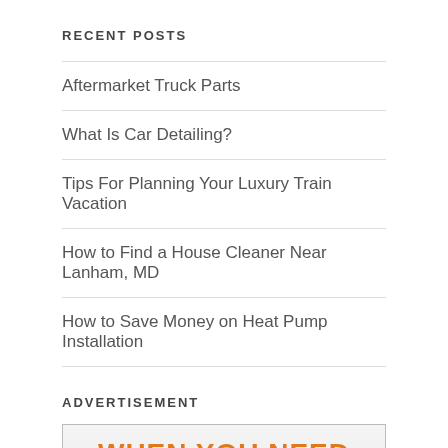RECENT POSTS
Aftermarket Truck Parts
What Is Car Detailing?
Tips For Planning Your Luxury Train Vacation
How to Find a House Cleaner Near Lanham, MD
How to Save Money on Heat Pump Installation
ADVERTISEMENT
[Figure (infographic): Advertisement banner with orange bold text reading: WHEN YOU NEED A LAWYER.]